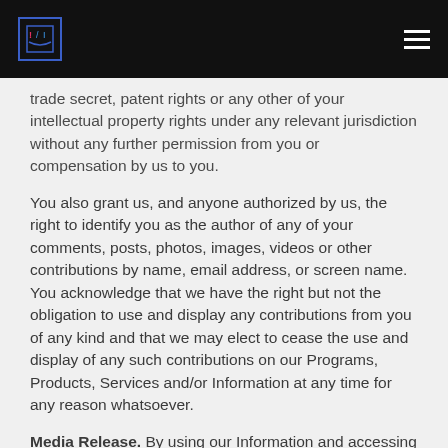[Logo] [Hamburger menu]
trade secret, patent rights or any other of your intellectual property rights under any relevant jurisdiction without any further permission from you or compensation by us to you.
You also grant us, and anyone authorized by us, the right to identify you as the author of any of your comments, posts, photos, images, videos or other contributions by name, email address, or screen name. You acknowledge that we have the right but not the obligation to use and display any contributions from you of any kind and that we may elect to cease the use and display of any such contributions on our Programs, Products, Services and/or Information at any time for any reason whatsoever.
Media Release. By using our Information and accessing our Website, including our any social media profile or community, you consent to photographs, videos, and/or